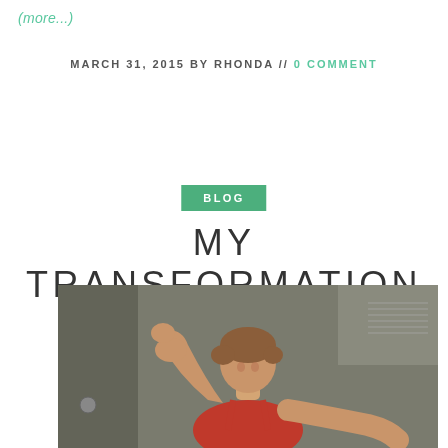(more...)
MARCH 31, 2015 BY RHONDA // 0 COMMENT
BLOG
MY TRANSFORMATION
[Figure (photo): Woman in red tank top flexing her right arm and smiling, taken in a bathroom/gym setting]